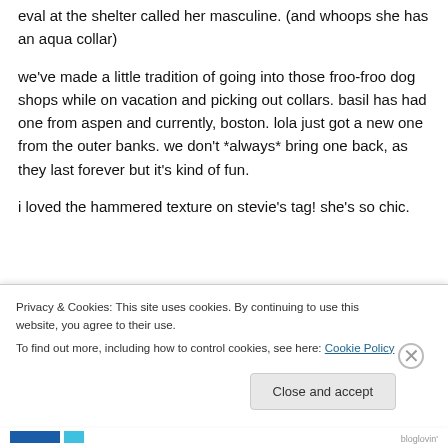eval at the shelter called her masculine. (and whoops she has an aqua collar)
we've made a little tradition of going into those froo-froo dog shops while on vacation and picking out collars. basil has had one from aspen and currently, boston. lola just got a new one from the outer banks. we don't *always* bring one back, as they last forever but it's kind of fun.
i loved the hammered texture on stevie's tag! she's so chic.
Privacy & Cookies: This site uses cookies. By continuing to use this website, you agree to their use.
To find out more, including how to control cookies, see here: Cookie Policy